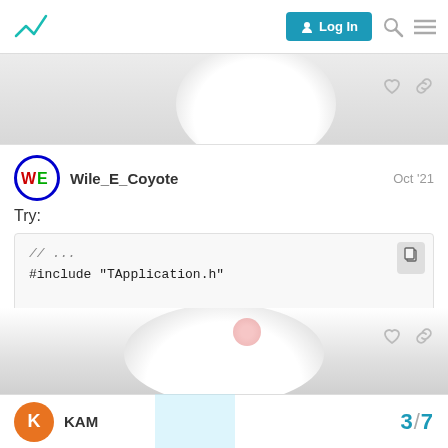Log In
Try:
[Figure (screenshot): Code block showing C++ include and main function with TApplication]
KAM  3 / 7